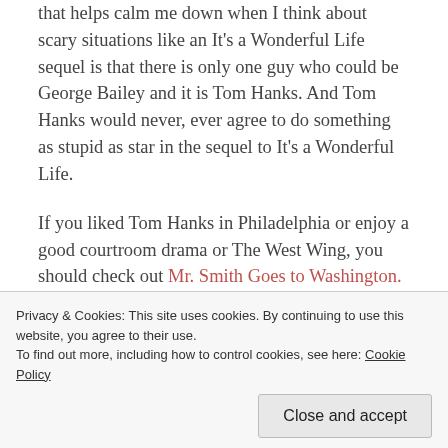that helps calm me down when I think about scary situations like an It's a Wonderful Life sequel is that there is only one guy who could be George Bailey and it is Tom Hanks.  And Tom Hanks would never, ever agree to do something as stupid as star in the sequel to It's a Wonderful Life.
If you liked Tom Hanks in Philadelphia or enjoy a good courtroom drama or The West Wing, you should check out Mr. Smith Goes to Washington. Not only will you have a textbook example of what people are talking about when they say "Capra-esque", you'll be treated to a Stewart performance that every student of the...
Privacy & Cookies: This site uses cookies. By continuing to use this website, you agree to their use.
To find out more, including how to control cookies, see here: Cookie Policy
Close and accept